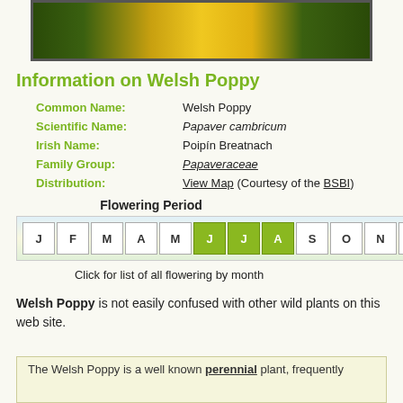[Figure (photo): Close-up photo of a yellow Welsh Poppy flower against a green background]
Information on Welsh Poppy
| Common Name: | Welsh Poppy |
| Scientific Name: | Papaver cambricum |
| Irish Name: | Poipín Breatnach |
| Family Group: | Papaveraceae |
| Distribution: | View Map (Courtesy of the BSBI) |
[Figure (infographic): Flowering Period calendar grid showing months J F M A M J J A S O N D with June, July, August highlighted in green]
Click for list of all flowering by month
Welsh Poppy is not easily confused with other wild plants on this web site.
The Welsh Poppy is a well known perennial plant, frequently...